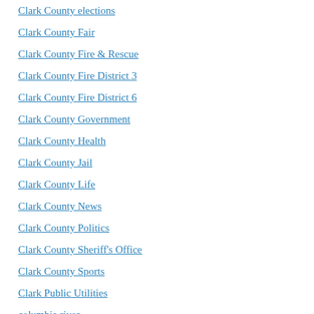Clark County elections
Clark County Fair
Clark County Fire & Rescue
Clark County Fire District 3
Clark County Fire District 6
Clark County Government
Clark County Health
Clark County Jail
Clark County Life
Clark County News
Clark County Politics
Clark County Sheriff's Office
Clark County Sports
Clark Public Utilities
columbia river
Columbia River Gorge